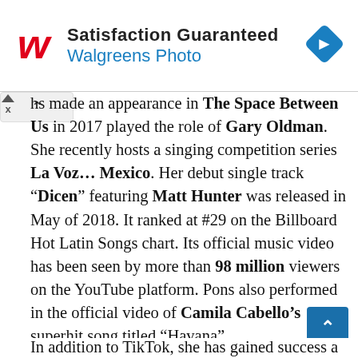[Figure (screenshot): Walgreens Photo advertisement banner with logo, 'Satisfaction Guaranteed' text, 'Walgreens Photo' subtitle, and a blue diamond navigation icon]
hs made an appearance in The Space Between Us in 2017 played the role of Gary Oldman. She recently hosts a singing competition series La Voz... Mexico. Her debut single track “Dicen” featuring Matt Hunter was released in May of 2018. It ranked at #29 on the Billboard Hot Latin Songs chart. Its official music video has been seen by more than 98 million viewers on the YouTube platform. Pons also performed in the official video of Camila Cabello’s superhit song titled “Havana”.
In addition to TikTok, she has gained success...